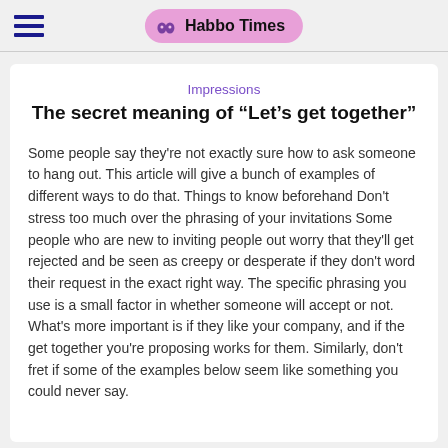Habbo Times
Impressions
The secret meaning of “Let’s get together”
Some people say they're not exactly sure how to ask someone to hang out. This article will give a bunch of examples of different ways to do that. Things to know beforehand Don't stress too much over the phrasing of your invitations Some people who are new to inviting people out worry that they'll get rejected and be seen as creepy or desperate if they don't word their request in the exact right way. The specific phrasing you use is a small factor in whether someone will accept or not. What's more important is if they like your company, and if the get together you're proposing works for them. Similarly, don't fret if some of the examples below seem like something you could never say.